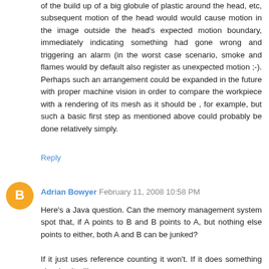of the build up of a big globule of plastic around the head, etc, subsequent motion of the head would would cause motion in the image outside the head's expected motion boundary, immediately indicating something had gone wrong and triggering an alarm (in the worst case scenario, smoke and flames would by default also register as unexpected motion ;-). Perhaps such an arrangement could be expanded in the future with proper machine vision in order to compare the workpiece with a rendering of its mesh as it should be , for example, but such a basic first step as mentioned above could probably be done relatively simply.
Reply
Adrian Bowyer  February 11, 2008 10:58 PM
Here's a Java question. Can the memory management system spot that, if A points to B and B points to A, but nothing else points to either, both A and B can be junked?
If it just uses reference counting it won't. If it does something classier, it will.